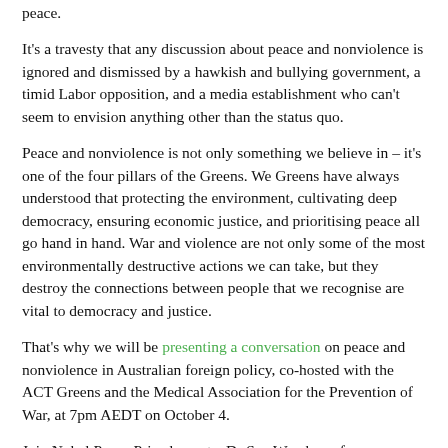peace.
It's a travesty that any discussion about peace and nonviolence is ignored and dismissed by a hawkish and bullying government, a timid Labor opposition, and a media establishment who can't seem to envision anything other than the status quo.
Peace and nonviolence is not only something we believe in – it's one of the four pillars of the Greens. We Greens have always understood that protecting the environment, cultivating deep democracy, ensuring economic justice, and prioritising peace all go hand in hand. War and violence are not only some of the most environmentally destructive actions we can take, but they destroy the connections between people that we recognise are vital to democracy and justice.
That's why we will be presenting a conversation on peace and nonviolence in Australian foreign policy, co-hosted with the ACT Greens and the Medical Association for the Prevention of War, at 7pm AEDT on October 4.
Join Nobel Peace Prize laureate, Dr Sue Wareham, former